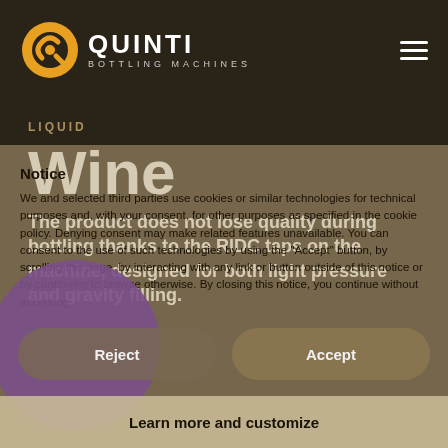[Figure (logo): Quinti Bottling Machines logo with orange circular Q icon and white text]
LIQUID
Notice
Wine
The product does not lose quality during bottling thanks to the RIDC taps on the machine, designed for both light pressure and gravity filling.
We and selected third parties use cookies or similar technologies for technical purposes and, with your consent, for other purposes as specified in the cookie policy. Denying consent may make related features unavailable. You can consent to the use of such technologies by using the "Accept" button, by scrolling this page, by interacting with any link or button outside of this notice or by continuing to browse otherwise. By closing this notice, you continue without accepting.
Reject
Accept
Learn more and customize